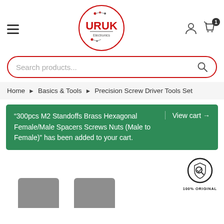[Figure (logo): URUK Electronics logo — red circle with URUK text in red and circuit board graphic]
[Figure (screenshot): Search bar with red rounded border and magnifier icon, placeholder text 'Search products...']
Home > Basics & Tools > Precision Screw Driver Tools Set
"300pcs M2 Standoffs Brass Hexagonal Female/Male Spacers Screws Nuts (Male to Female)" has been added to your cart.
View cart →
[Figure (illustration): 100% ORIGINAL badge — circular shield icon with magnifier and '100% ORIGINAL' text below]
[Figure (photo): Two product thumbnail images partially visible at the bottom of the page]